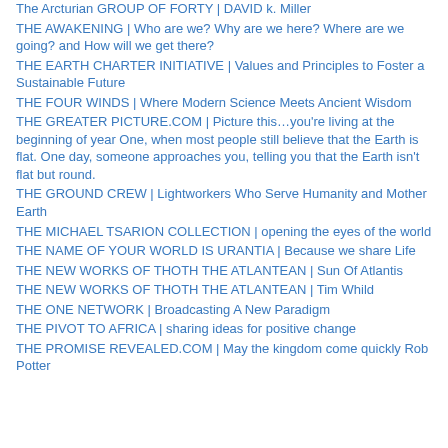The Arcturian GROUP OF FORTY | DAVID k. Miller
THE AWAKENING | Who are we? Why are we here? Where are we going? and How will we get there?
THE EARTH CHARTER INITIATIVE | Values and Principles to Foster a Sustainable Future
THE FOUR WINDS | Where Modern Science Meets Ancient Wisdom
THE GREATER PICTURE.COM | Picture this…you're living at the beginning of year One, when most people still believe that the Earth is flat. One day, someone approaches you, telling you that the Earth isn't flat but round.
THE GROUND CREW | Lightworkers Who Serve Humanity and Mother Earth
THE MICHAEL TSARION COLLECTION | opening the eyes of the world
THE NAME OF YOUR WORLD IS URANTIA | Because we share Life
THE NEW WORKS OF THOTH THE ATLANTEAN | Sun Of Atlantis
THE NEW WORKS OF THOTH THE ATLANTEAN | Tim Whild
THE ONE NETWORK | Broadcasting A New Paradigm
THE PIVOT TO AFRICA | sharing ideas for positive change
THE PROMISE REVEALED.COM | May the kingdom come quickly Rob Potter